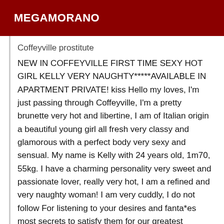MEGAMORANO
Coffeyville prostitute
NEW IN COFFEYVILLE FIRST TIME SEXY HOT GIRL KELLY VERY NAUGHTY*****AVAILABLE IN APARTMENT PRIVATE! kiss Hello my loves, I'm just passing through Coffeyville, I'm a pretty brunette very hot and libertine, I am of Italian origin a beautiful young girl all fresh very classy and glamorous with a perfect body very sexy and sensual. My name is Kelly with 24 years old, 1m70, 55kg. I have a charming personality very sweet and passionate lover, really very hot, I am a refined and very naughty woman! I am very cuddly, I do not follow For listening to your desires and fanta*es most secrets to satisfy them for our greatest pleasure, I would be your ideal companion for to spend with you and to offer you a very good intense and really hot moment of pleasure to share with foreplay, bodybody, deep throat position plan and also possible the sodo if you like and